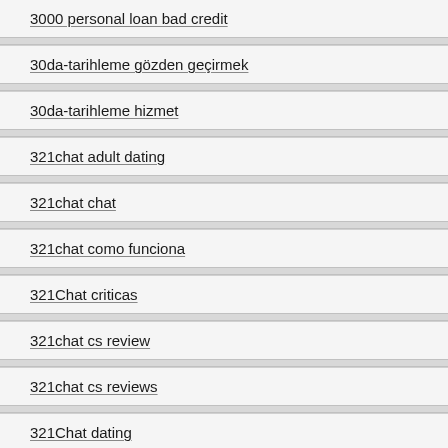3000 personal loan bad credit
30da-tarihleme gözden geçirmek
30da-tarihleme hizmet
321chat adult dating
321chat chat
321chat como funciona
321Chat criticas
321chat cs review
321chat cs reviews
321Chat dating
321chat de dating
321chat de kosten